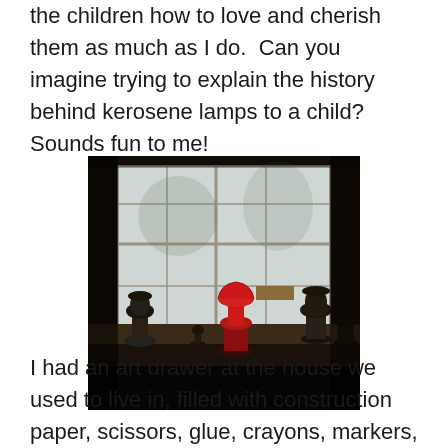the children how to love and cherish them as much as I do.  Can you imagine trying to explain the history behind kerosene lamps to a child?  Sounds fun to me!
[Figure (photo): A dark indoor photograph showing several kerosene lamps on a windowsill, with a distinctive red lamp in the center, backlit by a window.]
I had an art drawer at the house we used to live in, filled with construction paper, scissors, glue, crayons, markers, glitter pens, and crepe paper,